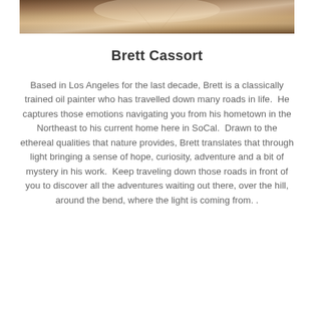[Figure (photo): Top portion of a painting or photograph showing a warm-toned corridor or road scene with light-filled atmospheric perspective, in warm browns, tans and creams.]
Brett Cassort
Based in Los Angeles for the last decade, Brett is a classically trained oil painter who has travelled down many roads in life.  He captures those emotions navigating you from his hometown in the Northeast to his current home here in SoCal.  Drawn to the ethereal qualities that nature provides, Brett translates that through light bringing a sense of hope, curiosity, adventure and a bit of mystery in his work.  Keep traveling down those roads in front of you to discover all the adventures waiting out there, over the hill, around the bend, where the light is coming from. .